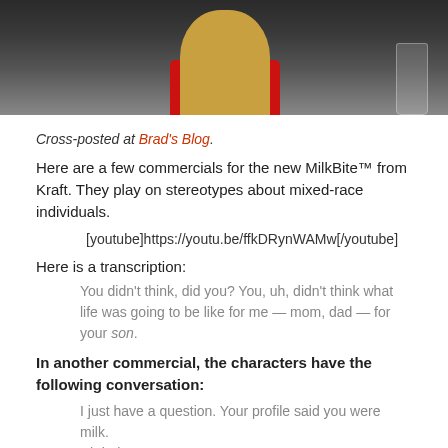[Figure (photo): A photo showing a character with a round granola/grain head wearing a red turtleneck sweater, with a glass visible on the right side, against a dark background.]
Cross-posted at Brad's Blog.
Here are a few commercials for the new MilkBite™ from Kraft. They play on stereotypes about mixed-race individuals.
[youtube]https://youtu.be/ffkDRynWAMw[/youtube]
Here is a transcription:
You didn't think, did you? You, uh, didn't think what life was going to be like for me — mom, dad — for your son.
In another commercial, the characters have the following conversation:
I just have a question. Your profile said you were milk.
Uh huh, yep, I am.
You just look like granola.